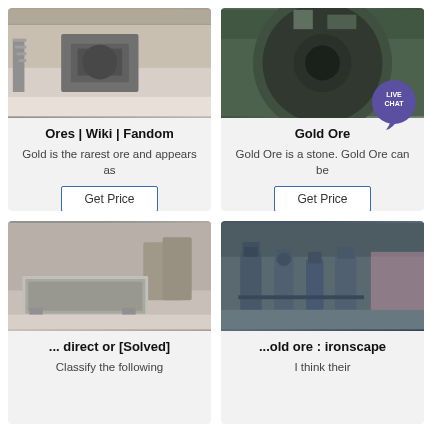[Figure (photo): Industrial machinery in a factory warehouse]
Ores | Wiki | Fandom
Gold is the rarest ore and appears as
[Figure (photo): Large cylindrical industrial drum/mill machine]
Gold Ore
Gold Ore is a stone. Gold Ore can be
[Figure (photo): Metal industrial tray or mold on factory floor]
... direct or [Solved]
Classify the following
[Figure (photo): Industrial milling machines in a workshop]
...old ore : ironscape
I think their